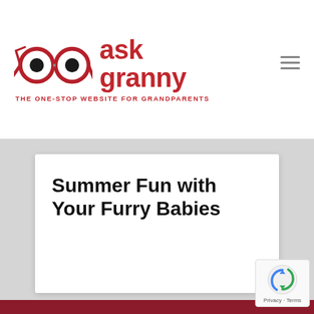[Figure (logo): Ask Granny logo with glasses icon and red text reading 'ask granny', tagline 'THE ONE-STOP WEBSITE FOR GRANDPARENTS']
Summer Fun with Your Furry Babies
[Figure (photo): Dark red/maroon background with a circular framed photo of a person with brown curly hair, partially visible at bottom of page]
[Figure (other): reCAPTCHA badge with Google reCAPTCHA icon and 'Privacy - Terms' text]